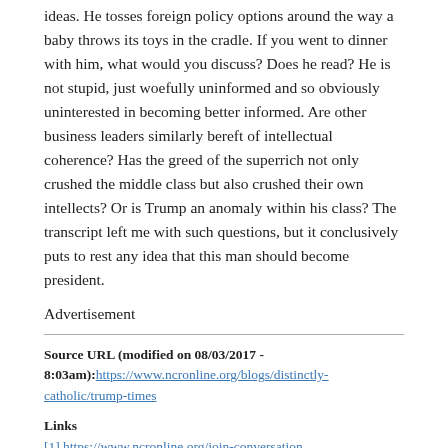ideas. He tosses foreign policy options around the way a baby throws its toys in the cradle. If you went to dinner with him, what would you discuss? Does he read? He is not stupid, just woefully uninformed and so obviously uninterested in becoming better informed. Are other business leaders similarly bereft of intellectual coherence? Has the greed of the superrich not only crushed the middle class but also crushed their own intellects? Or is Trump an anomaly within his class? The transcript left me with such questions, but it conclusively puts to rest any idea that this man should become president.
Advertisement
Source URL (modified on 08/03/2017 - 8:03am): https://www.ncronline.org/blogs/distinctly-catholic/trump-times
Links
[1] https://www.ncronline.org/join-conversation